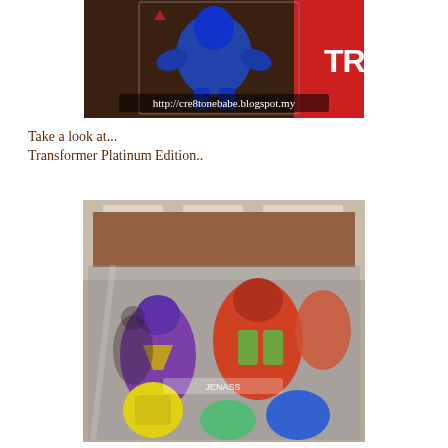[Figure (photo): Photo of a Transformers toy figure (blue robot) in packaging, with watermark text http://cre8tonebabe.blogspot.my at bottom]
Take a look at...
Transformer Platinum Edition..
[Figure (photo): Photo of Transformer Platinum Edition display case showing multiple colorful Transformer figures (purple, red/green, yellow, blue) behind glass in a store setting]